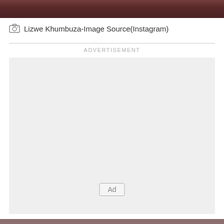[Figure (photo): Dark reddish-brown photo strip at top of page, partially visible sports/people image]
Lizwe Khumbuza-Image Source(Instagram)
ADVERTISEMENT
[Figure (other): Advertisement placeholder box with Ad badge label]